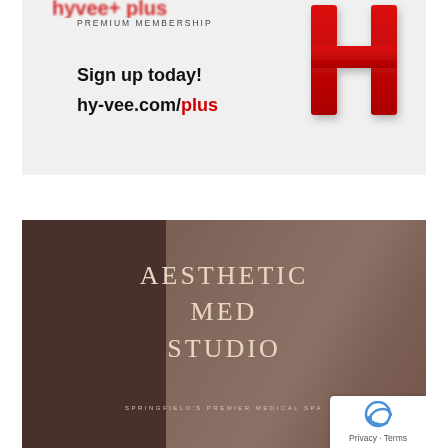[Figure (advertisement): Hy-Vee Plus Premium Membership advertisement with red H logo. Text: 'PREMIUM MEMBERSHIP', 'Sign up today!', 'hy-vee.com/plus'. Gray background with red stylized H icon on the right.]
[Figure (advertisement): Aesthetic Med Studio advertisement. Dark overlay over photo of smiling woman. Text: 'AESTHETIC MED STUDIO' in serif font, 'SPRINGFIELD'S PREMIER MEDICAL SPA' in small caps. reCAPTCHA Privacy/Terms badge in bottom right corner.]